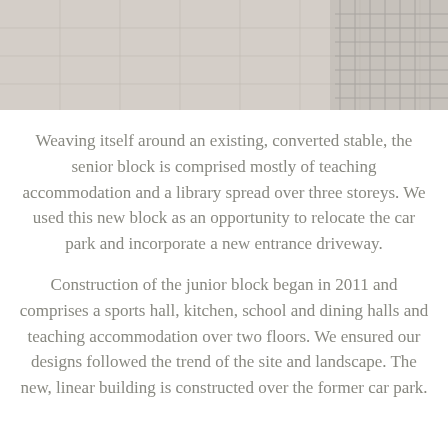[Figure (photo): Partial view of a paved courtyard or terrace with light-coloured tiles and metal fence/railing visible at right edge]
Weaving itself around an existing, converted stable, the senior block is comprised mostly of teaching accommodation and a library spread over three storeys. We used this new block as an opportunity to relocate the car park and incorporate a new entrance driveway.
Construction of the junior block began in 2011 and comprises a sports hall, kitchen, school and dining halls and teaching accommodation over two floors. We ensured our designs followed the trend of the site and landscape. The new, linear building is constructed over the former car park.